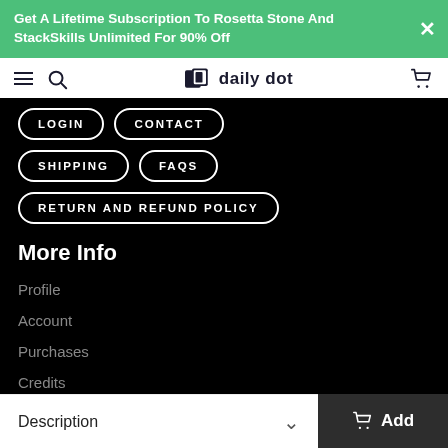Get A Lifetime Subscription To Rosetta Stone And StackSkills Unlimited For 90% Off
daily dot
LOGIN
CONTACT
SHIPPING
FAQS
RETURN AND REFUND POLICY
More Info
Profile
Account
Purchases
Credits
Description
Add